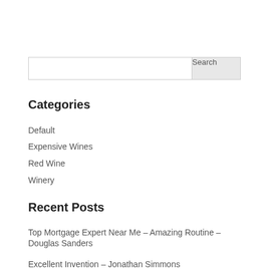Search
Categories
Default
Expensive Wines
Red Wine
Winery
Recent Posts
Top Mortgage Expert Near Me – Amazing Routine – Douglas Sanders
Excellent Invention – Jonathan Simmons